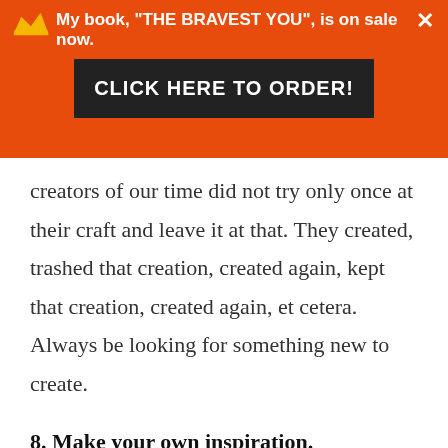My book, "THE BRAVEST YOU", is on sale now. CLICK HERE TO ORDER!
creators of our time did not try only once at their craft and leave it at that. They created, trashed that creation, created again, kept that creation, created again, et cetera. Always be looking for something new to create.
8. Make your own inspiration.
What inspires you? For me, when talking about being creative, seeing the beauty of nature and traveling gives me inspiration.